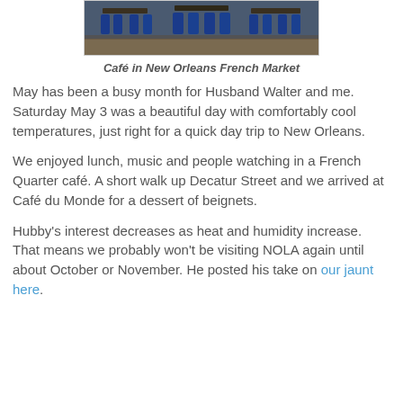[Figure (photo): Photo of blue chairs and tables at a café in the New Orleans French Market]
Café in New Orleans French Market
May has been a busy month for Husband Walter and me. Saturday May 3 was a beautiful day with comfortably cool temperatures, just right for a quick day trip to New Orleans.
We enjoyed lunch, music and people watching in a French Quarter café. A short walk up Decatur Street and we arrived at Café du Monde for a dessert of beignets.
Hubby's interest decreases as heat and humidity increase. That means we probably won't be visiting NOLA again until about October or November. He posted his take on our jaunt here.